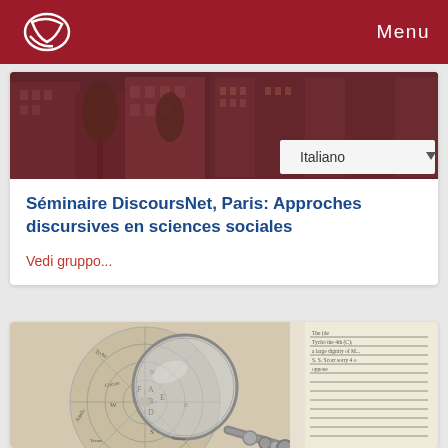Menu
[Figure (photo): Aerial/street view of European city buildings with trees, dark photographic background]
Séminaire DiscoursNet, Paris: Approches discursives en sciences sociales
Vedi gruppo...
[Figure (photo): Magnifying glass resting on old astronomical map and open book with handwritten text]